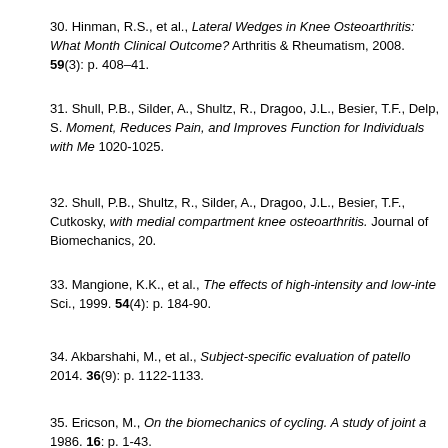30. Hinman, R.S., et al., Lateral Wedges in Knee Osteoarthritis: What Are the Biomechanical Effects and Can These Explain the 3-Month Clinical Outcome? Arthritis & Rheumatism, 2008. 59(3): p. 408–41.
31. Shull, P.B., Silder, A., Shultz, R., Dragoo, J.L., Besier, T.F., Delp, S.L., and Cutkosky, M.R. Toe-In Gait Reduces the First Peak Knee Adduction Moment, Reduces Pain, and Improves Function for Individuals with Medial Compartment Knee OA. 1020-1025.
32. Shull, P.B., Shultz, R., Silder, A., Dragoo, J.L., Besier, T.F., Cutkosky, M.R., et al., ... with medial compartment knee osteoarthritis. Journal of Biomechanics, 20...
33. Mangione, K.K., et al., The effects of high-intensity and low-intensity cycle ergometry in older adults with knee osteoarthritis. J Gerontol A Biol Sci., 1999. 54(4): p. 184-90.
34. Akbarshahi, M., et al., Subject-specific evaluation of patellofemoral joint biomechanics... 2014. 36(9): p. 1122-1133.
35. Ericson, M., On the biomechanics of cycling. A study of joint and muscle load during exercise on the bicycle ergometer. Scand J Rehabil Med Suppl., 1986. 16: p. 1-43.